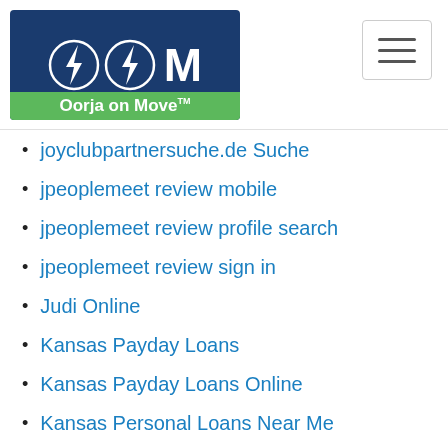Oorja on Move logo and hamburger menu
joyclubpartnersuche.de Suche
jpeoplemeet review mobile
jpeoplemeet review profile search
jpeoplemeet review sign in
Judi Online
Kansas Payday Loans
Kansas Payday Loans Online
Kansas Personal Loans Near Me
kasidie hookup apps
kasidie reviews
Kentucky Payday Loans
Kentucky Payday Loans Online
Kentucky Personal Loans
kesehatan
Kik review
Kink Dating visitors